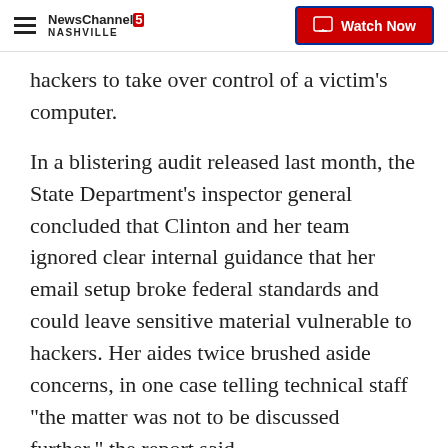NewsChannel 5 NASHVILLE — Watch Now
hackers to take over control of a victim's computer.
In a blistering audit released last month, the State Department's inspector general concluded that Clinton and her team ignored clear internal guidance that her email setup broke federal standards and could leave sensitive material vulnerable to hackers. Her aides twice brushed aside concerns, in one case telling technical staff "the matter was not to be discussed further," the report said.
The State Department has released more than 52,000 pages of Clinton's work-related emails, including some that have since been classified. Clinton has withheld thousands of additional emails, saying they were